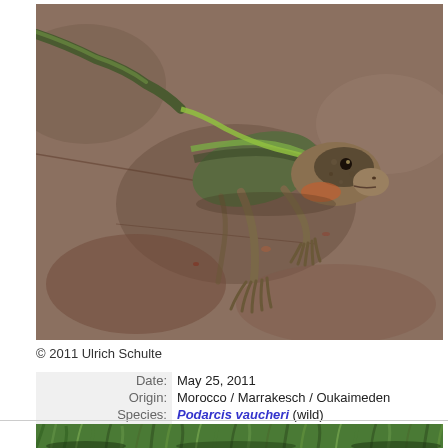[Figure (photo): Close-up photograph of a Podarcis vaucheri lizard on reddish-brown rocky surface, showing green and brown patterned scales, taken in Oukaimeden, Morocco on May 25, 2011]
© 2011 Ulrich Schulte
| Date: | May 25, 2011 |
| Origin: | Morocco / Marrakesch / Oukaimeden |
| Species: | Podarcis vaucheri (wild) |
| Sex: |  |
| Age: | Adult |
| Georeference: |  |
[Figure (photo): Partial view of a second lizard photograph showing green grass/vegetation, cropped at bottom of page]